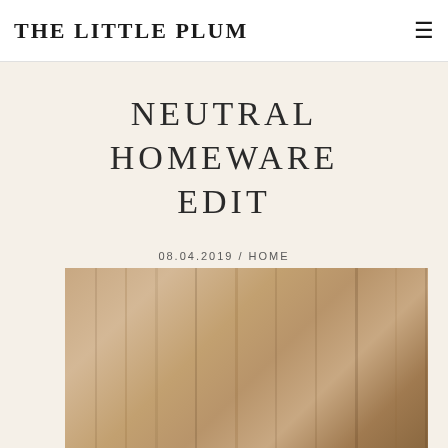THE LITTLE PLUM
NEUTRAL HOMEWARE EDIT
Home
08.04.2019 / HOME
Written by: Chloe Plumstead
[Figure (photo): Close-up photograph of neutral-toned linen or fabric curtains in warm beige/tan colors, hanging in vertical folds]